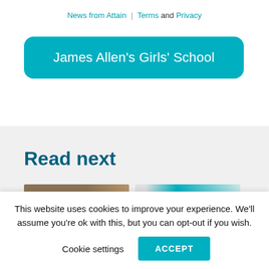News from Attain | Terms and Privacy
James Allen's Girls' School
Read next
[Figure (photo): Two thumbnail images side by side: left shows people in a warm-toned indoor setting, right shows a teal/cyan colored background with a partial figure]
This website uses cookies to improve your experience. We'll assume you're ok with this, but you can opt-out if you wish.
Cookie settings  ACCEPT